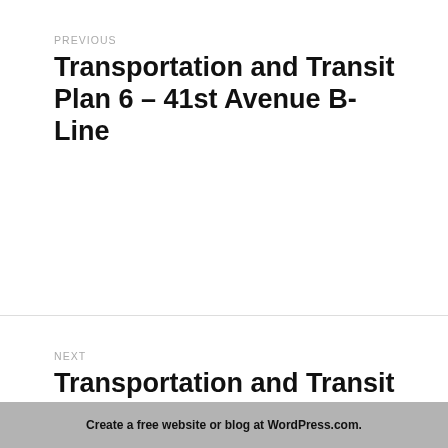PREVIOUS
Transportation and Transit Plan 6 – 41st Avenue B-Line
NEXT
Transportation and Transit Plan 7 – Third SeaBus
Create a free website or blog at WordPress.com.